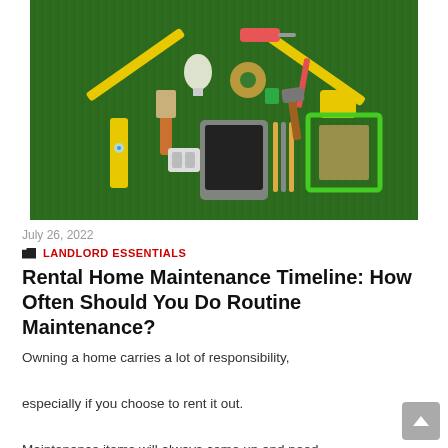[Figure (photo): Home maintenance tools arranged in the shape of a house on green grass background. Includes paint roller, brushes, hammer, level, tape measure, light bulb, screwdrivers, and other tools.]
July 26, 2022
LANDLORD ESSENTIALS
Rental Home Maintenance Timeline: How Often Should You Do Routine Maintenance?
Owning a home carries a lot of responsibility, especially if you choose to rent it out. Maintenance items will always come up and need to be addressed, both routine and...